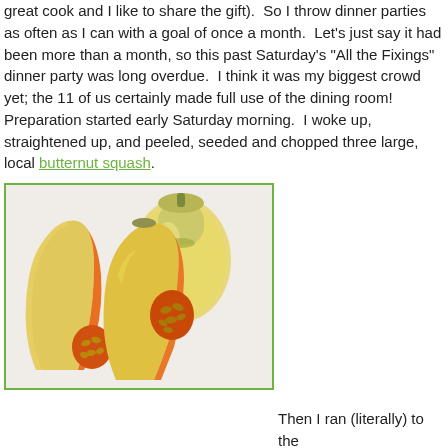great cook and I like to share the gift).  So I throw dinner parties as often as I can with a goal of once a month.  Let's just say it had been more than a month, so this past Saturday's "All the Fixings" dinner party was long overdue.  I think it was my biggest crowd yet; the 11 of us certainly made full use of the dining room!
Preparation started early Saturday morning.  I woke up, straightened up, and peeled, seeded and chopped three large, local butternut squash.
[Figure (photo): Photo of butternut squash: one whole squash and two halved squash showing orange interior flesh and seeds, on a white background.]
Then I ran (literally) to the